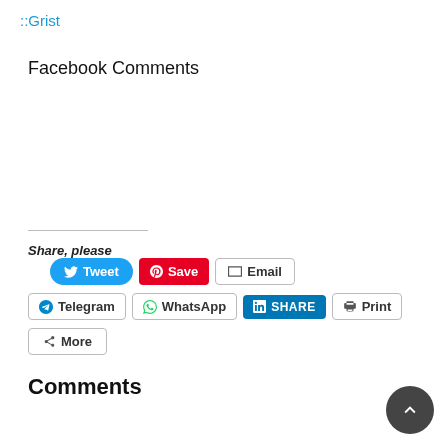::Grist
Facebook Comments
Share, please
[Figure (screenshot): Social share buttons: Tweet (Twitter/blue), Save (Pinterest/red), Email (white outline), Telegram (white outline), WhatsApp (white outline), LinkedIn SHARE (blue filled), Print (white outline), More (white outline)]
Comments
[Figure (other): Scroll-to-top circular button (dark grey) with upward chevron arrow icon, positioned bottom-right]